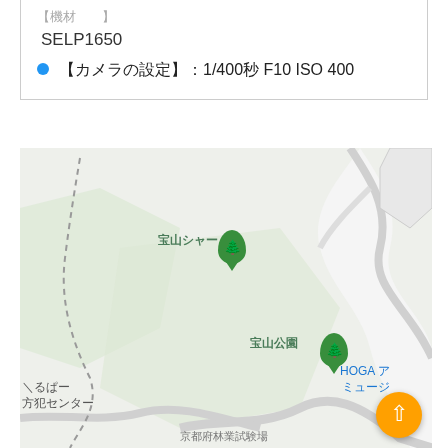【機材　　】
SELP1650
【カメラの設定】：1/400秒 F10 ISO 400
[Figure (map): Google Maps style map showing 宝山シャー and 宝山公園 locations with green pins, dashed path, and roads. Also shows HOGA ア ミュージ and nearby labels. Yellow FAB button in bottom-right.]